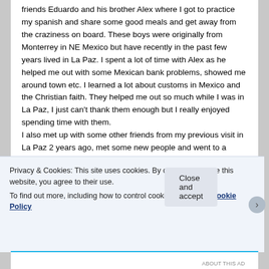friends Eduardo and his brother Alex where I got to practice my spanish and share some good meals and get away from the craziness on board. These boys were originally from Monterrey in NE Mexico but have recently in the past few years lived in La Paz. I spent a lot of time with Alex as he helped me out with some Mexican bank problems, showed me around town etc. I learned a lot about customs in Mexico and the Christian faith. They helped me out so much while I was in La Paz, I just can't thank them enough but I really enjoyed spending time with them.
I also met up with some other friends from my previous visit in La Paz 2 years ago, met some new people and went to a variety of events including a traditional te
Privacy & Cookies: This site uses cookies. By continuing to use this website, you agree to their use.
To find out more, including how to control cookies, see here: Cookie Policy